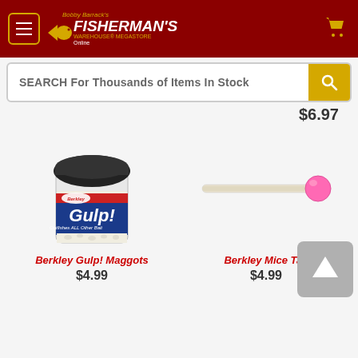[Figure (screenshot): Bobby Barrack's Fisherman's Warehouse Megastore Online header logo with hamburger menu and shopping cart icon on dark red background]
SEARCH For Thousands of Items In Stock
$6.97
[Figure (photo): Berkley Gulp! Maggots jar with black lid, showing white maggots inside with red and blue Gulp! label]
Berkley Gulp! Maggots
$4.99
[Figure (photo): Berkley Mice Tail fishing lure - a long white/cream colored lure with a pink ball head on a white background]
Berkley Mice Tail
$4.99